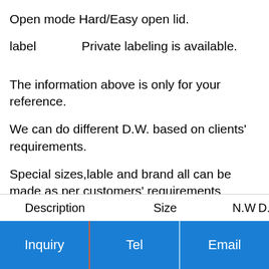Open mode Hard/Easy open lid.
label    Private labeling is available.
The information above is only for your reference.
We can do different D.W. based on clients' requirements.
Special sizes,lable and brand all can be made as per customers' requirements
| Description | Size | N.W | D.W |
| --- | --- | --- | --- |
Inquiry   Tel   Email